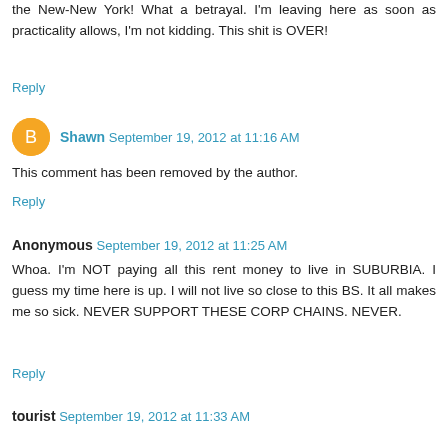the New-New York! What a betrayal. I'm leaving here as soon as practicality allows, I'm not kidding. This shit is OVER!
Reply
Shawn  September 19, 2012 at 11:16 AM
This comment has been removed by the author.
Reply
Anonymous  September 19, 2012 at 11:25 AM
Whoa. I'm NOT paying all this rent money to live in SUBURBIA. I guess my time here is up. I will not live so close to this BS. It all makes me so sick. NEVER SUPPORT THESE CORP CHAINS. NEVER.
Reply
tourist  September 19, 2012 at 11:33 AM